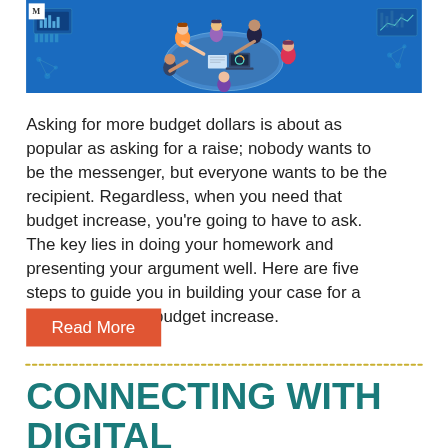[Figure (illustration): Blue background illustration showing diverse group of people sitting around a round table with laptops and documents, with data chart graphics in the background. Medium logo in top-left corner.]
Asking for more budget dollars is about as popular as asking for a raise; nobody wants to be the messenger, but everyone wants to be the recipient. Regardless, when you need that budget increase, you're going to have to ask. The key lies in doing your homework and presenting your argument well. Here are five steps to guide you in building your case for a digital marketing budget increase.
Read More
CONNECTING WITH DIGITAL